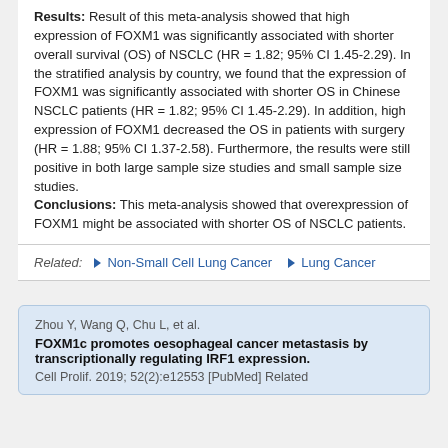Results: Result of this meta-analysis showed that high expression of FOXM1 was significantly associated with shorter overall survival (OS) of NSCLC (HR = 1.82; 95% CI 1.45-2.29). In the stratified analysis by country, we found that the expression of FOXM1 was significantly associated with shorter OS in Chinese NSCLC patients (HR = 1.82; 95% CI 1.45-2.29). In addition, high expression of FOXM1 decreased the OS in patients with surgery (HR = 1.88; 95% CI 1.37-2.58). Furthermore, the results were still positive in both large sample size studies and small sample size studies. Conclusions: This meta-analysis showed that overexpression of FOXM1 might be associated with shorter OS of NSCLC patients.
Related: Non-Small Cell Lung Cancer  Lung Cancer
Zhou Y, Wang Q, Chu L, et al.
FOXM1c promotes oesophageal cancer metastasis by transcriptionally regulating IRF1 expression.
Cell Prolif. 2019; 52(2):e12553 [PubMed] Related